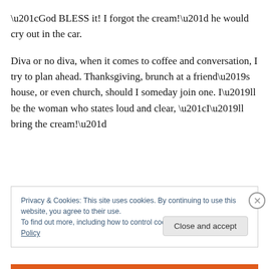“God BLESS it! I forgot the cream!” he would cry out in the car.

Diva or no diva, when it comes to coffee and conversation, I try to plan ahead. Thanksgiving, brunch at a friend’s house, or even church, should I someday join one. I’ll be the woman who states loud and clear, “I’ll bring the cream!”
Privacy & Cookies: This site uses cookies. By continuing to use this website, you agree to their use.
To find out more, including how to control cookies, see here: Cookie Policy